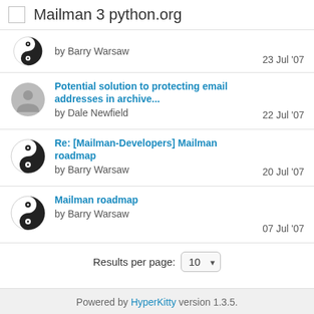Mailman 3 python.org
by Barry Warsaw | 23 Jul '07
Potential solution to protecting email addresses in archive... | by Dale Newfield | 22 Jul '07
Re: [Mailman-Developers] Mailman roadmap | by Barry Warsaw | 20 Jul '07
Mailman roadmap | by Barry Warsaw | 07 Jul '07
Results per page: 10
Powered by HyperKitty version 1.3.5.